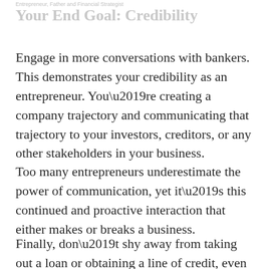Entrepreneur, Father and Financial Strategist
Your End Goal: Credibility
Engage in more conversations with bankers. This demonstrates your credibility as an entrepreneur. You’re creating a company trajectory and communicating that trajectory to your investors, creditors, or any other stakeholders in your business.
Too many entrepreneurs underestimate the power of communication, yet it’s this continued and proactive interaction that either makes or breaks a business.
Finally, don’t shy away from taking out a loan or obtaining a line of credit, even if it’s $50,000